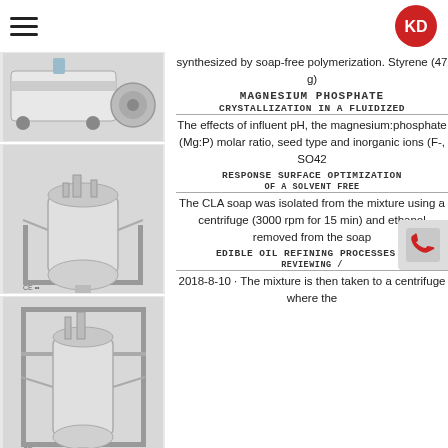KD (logo)
[Figure (photo): Laboratory vacuum pump / motor unit on wheels, white casing]
synthesized by soap-free polymerization. Styrene (47 g)
MAGNESIUM PHOSPHATE CRYSTALLIZATION IN A FLUIDIZED
[Figure (photo): Stainless steel bioreactor / mixing vessel on a stand with multiple fittings]
The effects of influent pH, the magnesium:phosphate (Mg:P) molar ratio, seed type and inorganic ions (F-, SO42
RESPONSE SURFACE OPTIMIZATION OF A SOLVENT FREE
[Figure (photo): Tall stainless steel reactor/fermenter on a frame stand with tubing]
The CLA soap was isolated from the mixture using a centrifuge (3000 rpm for 15 min) and ethanol removed from the soap
EDIBLE OIL REFINING PROCESSES - REVIEWING /
[Figure (photo): Small benchtop spray dryer unit with glass collection vessel]
2018-8-10 · The mixture is then taken to a centrifuge where the